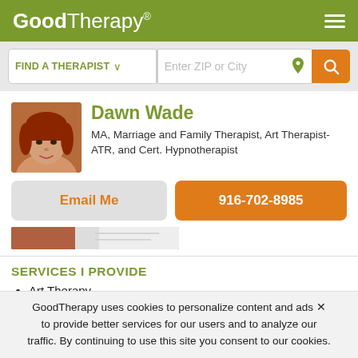GoodTherapy®
FIND A THERAPIST  ∨   Enter ZIP or City
Dawn Wade
MA, Marriage and Family Therapist, Art Therapist-ATR, and Cert. Hypnotherapist
Email Me
916-702-8985
[Figure (photo): Profile photo of therapist Dawn Wade, woman with red hair]
[Figure (photo): Partial second photo strip at bottom of profile image]
SERVICES I PROVIDE
Art Therapy
GoodTherapy uses cookies to personalize content and ads to provide better services for our users and to analyze our traffic. By continuing to use this site you consent to our cookies.